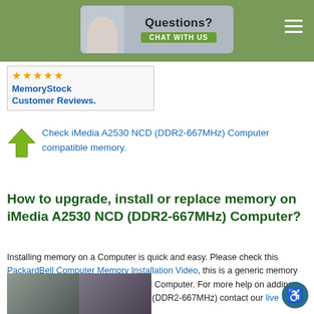Questions? CHAT WITH US
[Figure (logo): MemoryStock Customer Reviews with gold stars rating]
Check iMedia A2530 NCD (DDR2-667MHz) Computer compatible memory.
How to upgrade, install or replace memory on iMedia A2530 NCD (DDR2-667MHz) Computer?
Installing memory on a Computer is quick and easy. Please check this PackardBell Computer Memory Installation Video, this is a generic memory installation procedure for PackardBell Computer. For more help on adding extra memory on iMedia A2530 NCD (DDR2-667MHz) contact our live support.
[Figure (photo): Photo of RAM memory module installation on a computer]